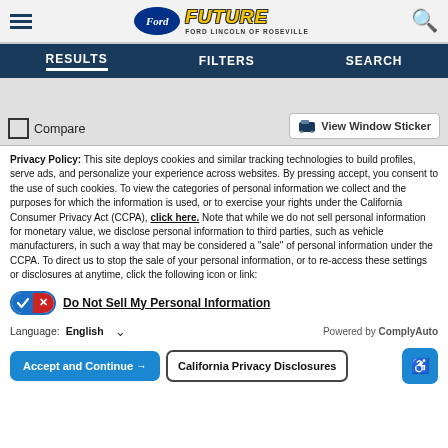Future Ford Lincoln of Roseville — RESULTS | FILTERS | SEARCH
[Figure (screenshot): Partial car listing image area with Compare checkbox and View Window Sticker button]
Privacy Policy: This site deploys cookies and similar tracking technologies to build profiles, serve ads, and personalize your experience across websites. By pressing accept, you consent to the use of such cookies. To view the categories of personal information we collect and the purposes for which the information is used, or to exercise your rights under the California Consumer Privacy Act (CCPA), click here. Note that while we do not sell personal information for monetary value, we disclose personal information to third parties, such as vehicle manufacturers, in such a way that may be considered a "sale" of personal information under the CCPA. To direct us to stop the sale of your personal information, or to re-access these settings or disclosures at anytime, click the following icon or link:
Do Not Sell My Personal Information
Language: English   Powered by ComplyAuto
Accept and Continue →   California Privacy Disclosures